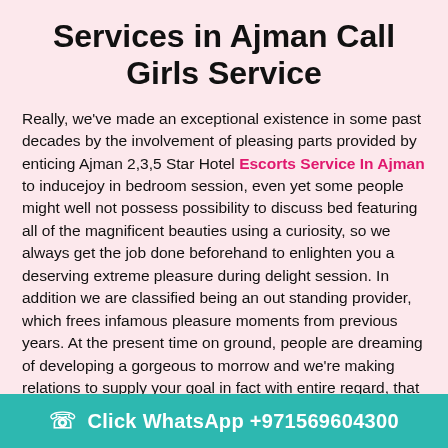Services in Ajman Call Girls Service
Really, we've made an exceptional existence in some past decades by the involvement of pleasing parts provided by enticing Ajman 2,3,5 Star Hotel Escorts Service In Ajman to inducejoy in bedroom session, even yet some people might well not possess possibility to discuss bed featuring all of the magnificent beauties using a curiosity, so we always get the job done beforehand to enlighten you a deserving extreme pleasure during delight session. In addition we are classified being an out standing provider, which frees infamous pleasure moments from previous years. At the present time on ground, people are dreaming of developing a gorgeous to morrow and we're making relations to supply your goal in fact with entire regard, that is
Click WhatsApp +971569604300